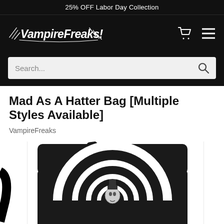25% OFF Labor Day Collection
[Figure (logo): VampireFreaks gothic logo in white on black background]
Search...
Mad As A Hatter Bag [Multiple Styles Available]
VampireFreaks
[Figure (photo): Black messenger bag with black and white spiral swirl pattern and a face/skull graphic in the center, shown on white background]